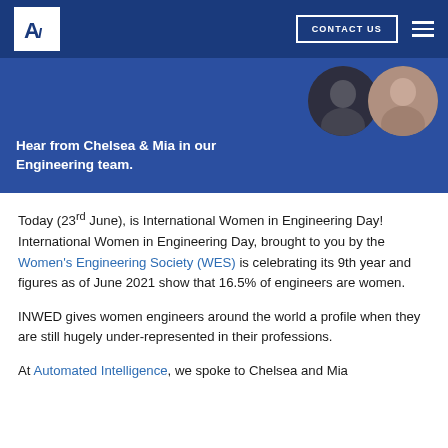AI logo | CONTACT US | hamburger menu
[Figure (photo): Blue banner with two circular portrait photos of women (Chelsea and Mia) on the right, and bold white text on the left reading 'Hear from Chelsea & Mia in our Engineering team.']
Today (23rd June), is International Women in Engineering Day! International Women in Engineering Day, brought to you by the Women's Engineering Society (WES) is celebrating its 9th year and figures as of June 2021 show that 16.5% of engineers are women.
INWED gives women engineers around the world a profile when they are still hugely under-represented in their professions.
At Automated Intelligence, we spoke to Chelsea and Mia